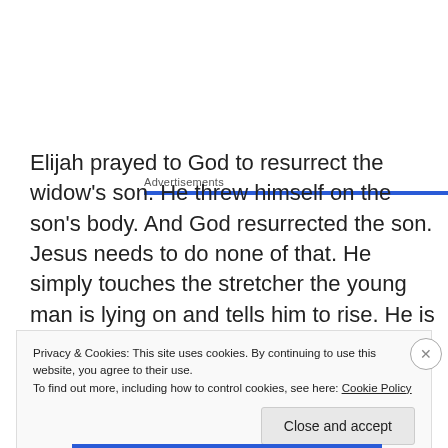Advertisements
Elijah prayed to God to resurrect the widow's son. He threw himself on the son's body. And God resurrected the son. Jesus needs to do none of that. He simply touches the stretcher the young man is lying on and tells him to rise. He is not asking God to bring the boy to life. He, being God, commands the boy to live.
Privacy & Cookies: This site uses cookies. By continuing to use this website, you agree to their use.
To find out more, including how to control cookies, see here: Cookie Policy
Close and accept